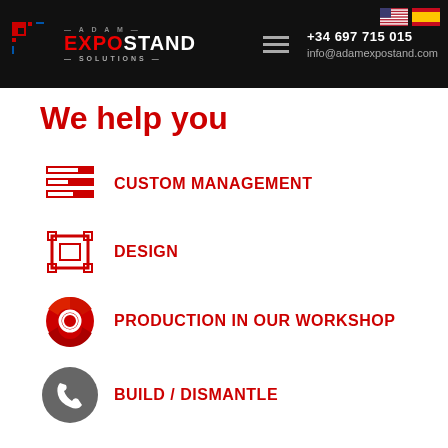+34 697 715 015 | info@adamexpostand.com | Adam Expostand Solutions
We help you
CUSTOM MANAGEMENT
DESIGN
PRODUCTION IN OUR WORKSHOP
BUILD / DISMANTLE